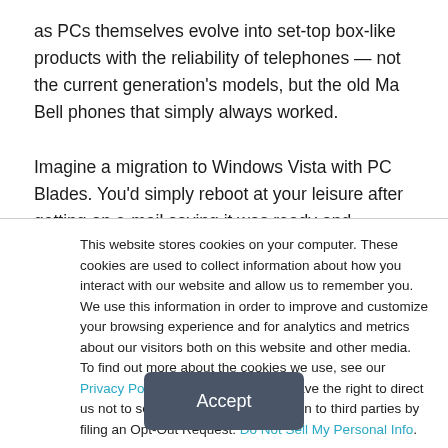as PCs themselves evolve into set-top box-like products with the reliability of telephones — not the current generation's models, but the old Ma Bell phones that simply always worked.

Imagine a migration to Windows Vista with PC Blades. You'd simply reboot at your leisure after getting an e-mail saying it was ready and instantly you'd be on the new OS, if there was
This website stores cookies on your computer. These cookies are used to collect information about how you interact with our website and allow us to remember you. We use this information in order to improve and customize your browsing experience and for analytics and metrics about our visitors both on this website and other media. To find out more about the cookies we use, see our Privacy Policy. California residents have the right to direct us not to sell their personal information to third parties by filing an Opt-Out Request: Do Not Sell My Personal Info.
Accept